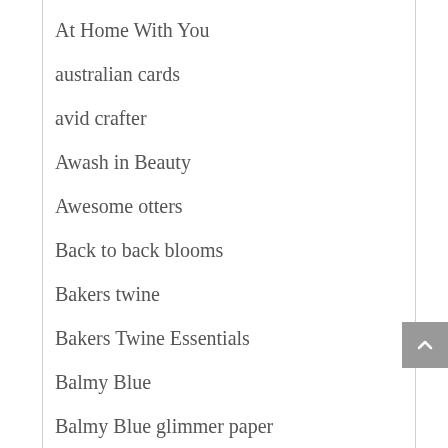At Home With You
australian cards
avid crafter
Awash in Beauty
Awesome otters
Back to back blooms
Bakers twine
Bakers Twine Essentials
Balmy Blue
Balmy Blue glimmer paper